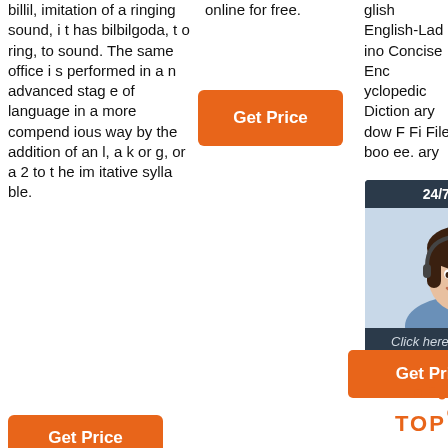billil, imitation of a ringing sound, it has bilbilgoda, to ring, to sound. The same office is performed in an advanced stage of language in a more compendious way by the addition of an l, a k or g, or a 2 to the im itative syllable.
online for free.
[Figure (other): Orange 'Get Price' button in the middle column]
glish English-Ladino Concise Encyclopedic Dictionary dow F Fi File boo ee. ary
[Figure (other): Live chat widget with '24/7 Online' header, agent photo, 'Click here for free chat!' text, and QUOTATION button]
[Figure (other): Orange 'Get Price' button on the right side]
[Figure (other): Orange TOP icon with dots]
[Figure (other): Orange 'Get Price' button at the bottom left]